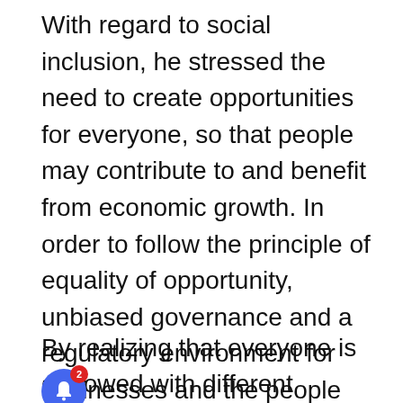With regard to social inclusion, he stressed the need to create opportunities for everyone, so that people may contribute to and benefit from economic growth. In order to follow the principle of equality of opportunity, unbiased governance and a regulatory environment for businesses and the people are needed.
[Figure (screenshot): A trending news widget showing a photo of cryptocurrency tokens/chips, with a heading 'Trending' in blue and bold title 'Huobi Thailand shuts down after losing'. A notification popup overlays the widget with text 'Thai Prime Minister suspended by Constitutional Court' and '8 hours ago'. A blue bell notification button with red badge showing '2' is visible bottom-left.]
By realizing that everyone is endowed with different